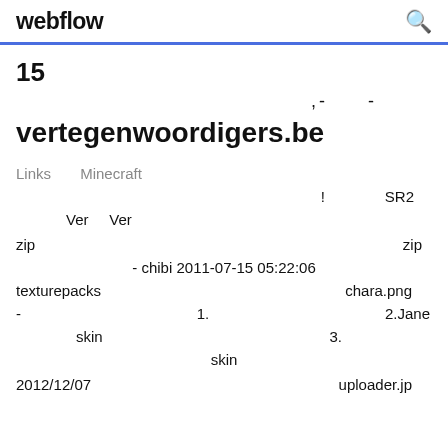webflow  Q
15
,-   -
vertegenwoordigers.be
Links    Minecraft
!    SR2
Ver    Ver
zip    zip
- chibi 2011-07-15 05:22:06
texturepacks    chara.png
-    1.    2.Jane
skin    3.
skin
2012/12/07    uploader.jp